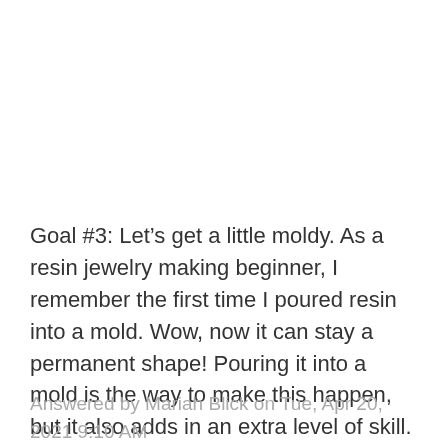Goal #3: Let's get a little moldy. As a resin jewelry making beginner, I remember the first time I poured resin into a mold. Wow, now it can stay a permanent shape! Pouring it into a mold is the way to make this happen, but it also adds in an extra level of skill. You need to be sure you're using a mold release and a resin mold appropriate ...
Answered by Mariah Blick on Tue, Apr 20, 2021 9:10 AM